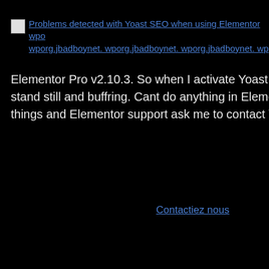Problems detected with Yoast SEO when using Elementor wporg.jbadboynet. wporg.jbadboynet. wporg.jbadboynet. wpo...
Elementor Pro v2.10.3. So when I activate Yoast SEO plugin my El stand still and buffring. Cant do anything in Elementor, its freezed. things and Elementor support ask me to contact YOAST support.
Contactiez nous